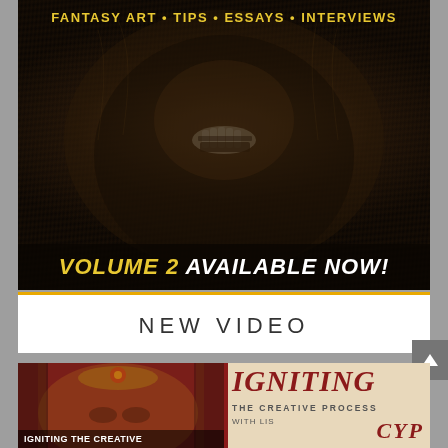[Figure (photo): Dark fantasy art cover image showing a monstrous creature with teeth visible, dark textured fur/bark-like body, on a dark background. Header text reads 'FANTASY ART • TIPS • ESSAYS • INTERVIEWS'. Bottom overlay text: 'VOLUME 2 AVAILABLE NOW!']
NEW VIDEO
[Figure (photo): Bottom image strip showing two panels side by side: left panel is an ornate fantasy painting of a deity/goddess face with red and gold colors; right panel shows text 'IGNITING THE CREATIVE PROCESS WITH LIS CYP' in red italic serif font on a parchment background.]
IGNITING THE CREATIVE